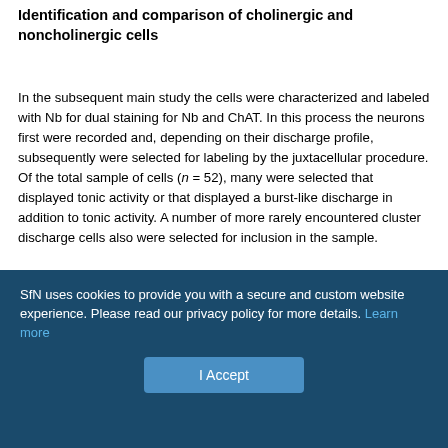Identification and comparison of cholinergic and noncholinergic cells
In the subsequent main study the cells were characterized and labeled with Nb for dual staining for Nb and ChAT. In this process the neurons first were recorded and, depending on their discharge profile, subsequently were selected for labeling by the juxtacellular procedure. Of the total sample of cells (n = 52), many were selected that displayed tonic activity or that displayed a burst-like discharge in addition to tonic activity. A number of more rarely encountered cluster discharge cells also were selected for inclusion in the sample.
Of 52 Nb-labeled cells located in the basal forebrain cholinergic cell area, 12 were established as immunopositive for ChAT (Nb+/ChAT+),
SfN uses cookies to provide you with a secure and custom website experience. Please read our privacy policy for more details. Learn more